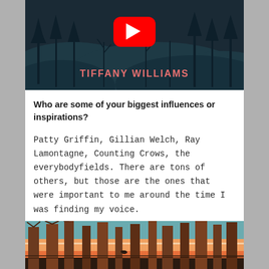[Figure (screenshot): YouTube video thumbnail showing 'TIFFANY WILLIAMS' text over a dark illustrated scene with trees and mountains, with a red YouTube play button icon]
Who are some of your biggest influences or inspirations?
Patty Griffin, Gillian Welch, Ray Lamontagne, Counting Crows, the everybodyfields. There are tons of others, but those are the ones that were important to me around the time I was finding my voice.
[Figure (illustration): Colorful illustrated scene with trees (brown/dark trunks) against an orange/red sunset sky with teal background]